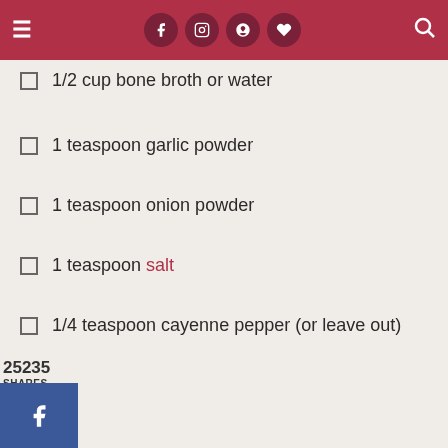Header bar with hamburger menu, social icons (Facebook, Instagram, Pinterest, heart), and search icon
1/2 cup bone broth or water
1 teaspoon garlic powder
1 teaspoon onion powder
1 teaspoon salt
1/4 teaspoon cayenne pepper (or leave out)
25235 SHARES
[Figure (other): Social share buttons: Facebook (blue), Twitter (light blue), Pinterest (red)]